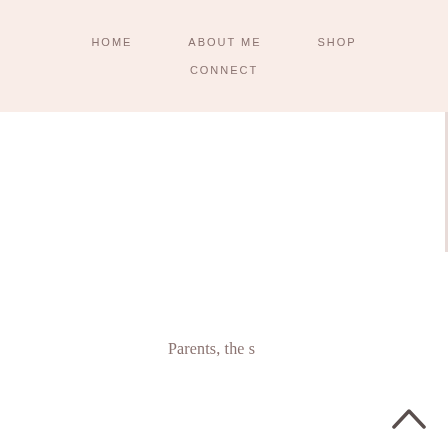HOME   ABOUT ME   SHOP   CONNECT
Parents, the s
[Figure (other): Upward-pointing chevron/arrow scroll-to-top button in dark gray]